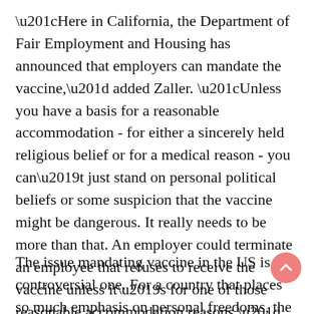“Here in California, the Department of Fair Employment and Housing has announced that employers can mandate the vaccine,” added Zaller. “Unless you have a basis for a reasonable accommodation - for either a sincerely held religious belief or for a medical reason - you can’t just stand on personal political beliefs or some suspicion that the vaccine might be dangerous. It really needs to be more than that. An employer could terminate an employee that refuses to receive the vaccine unless it’s for one of those reasonable accommodation reasons.”
The issue mandating vaccine in the US is a controversial one. For a country that places so much emphasis on personal freedoms, the notion of